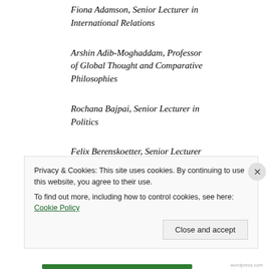Fiona Adamson, Senior Lecturer in International Relations
Arshin Adib-Moghaddam, Professor of Global Thought and Comparative Philosophies
Rochana Bajpai, Senior Lecturer in Politics
Felix Berenskoetter, Senior Lecturer in International Relations
Privacy & Cookies: This site uses cookies. By continuing to use this website, you agree to their use. To find out more, including how to control cookies, see here: Cookie Policy
Close and accept